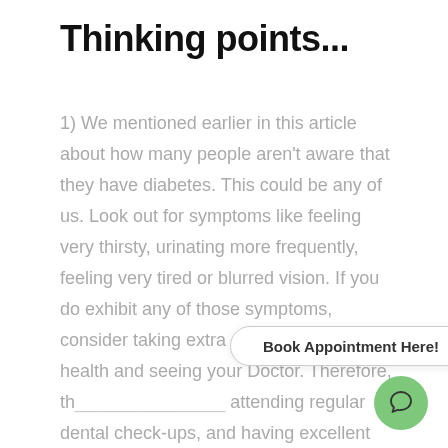Thinking points...
1) We mentioned earlier in this article about how many people aren't aware that they have diabetes. This could be any of us. Look out for symptoms like feeling very thirsty, urinating more frequently, feeling very tired or blurred vision. If you do exhibit any of those symptoms, consider taking extra care with your oral health and seeing your Doctor. Therefore, th... attending regular dental check-ups, and having excellent oral hygiene.
Book Appointment Here!